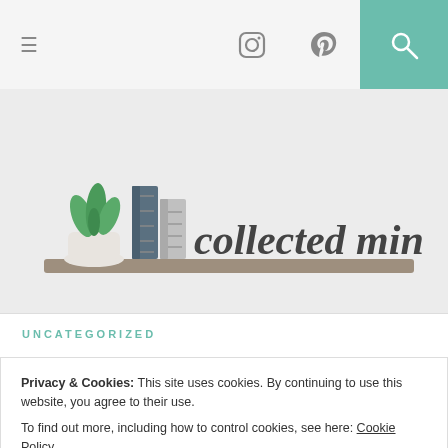Navigation bar with hamburger menu, Instagram icon, Pinterest icon, and search button
[Figure (logo): Collected Minimalist blog logo: illustration of a plant, books, and binders on a shelf with the text 'collected minimalist' in script font]
UNCATEGORIZED
Privacy & Cookies: This site uses cookies. By continuing to use this website, you agree to their use.
To find out more, including how to control cookies, see here: Cookie Policy
Close and accept